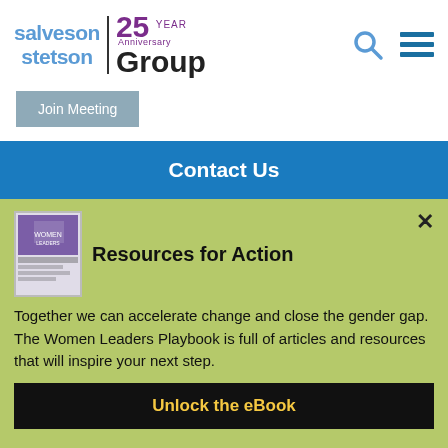[Figure (logo): Salveson Stetson Group logo with 25 Year Anniversary text]
[Figure (other): Search icon (magnifying glass) and hamburger menu icon]
Join Meeting
Contact Us
Resources for Action
[Figure (photo): Book cover thumbnail - Women Leaders Playbook]
Together we can accelerate change and close the gender gap. The Women Leaders Playbook is full of articles and resources that will inspire your next step.
Unlock the eBook